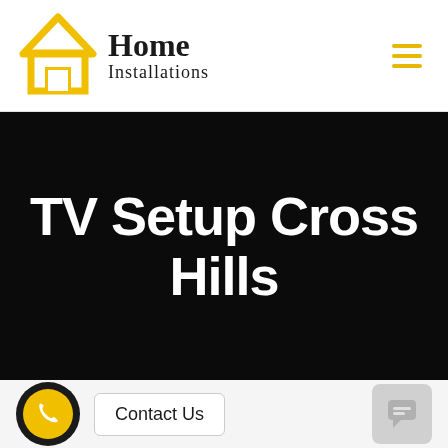[Figure (logo): Home Installations logo: yellow house outline icon on left, text 'Home Installations' in serif font on right, hamburger menu icon (yellow lines) on far right]
TV Setup Cross Hills
[Figure (infographic): Bottom bar with black/yellow phone icon circle, 'Contact Us' button, and grey chat widget square on the right]